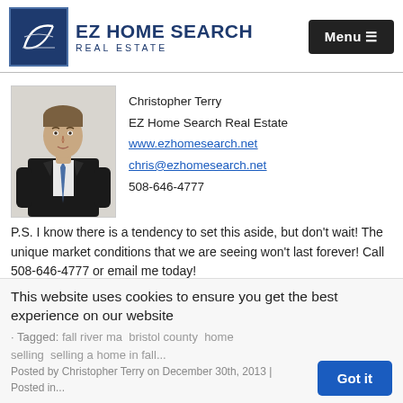EZ HOME SEARCH Real Estate | Menu
[Figure (photo): Professional headshot of Christopher Terry in a dark suit with a blue tie, seated pose]
Christopher Terry
EZ Home Search Real Estate
www.ezhomesearch.net
chris@ezhomesearch.net
508-646-4777
P.S. I know there is a tendency to set this aside, but don't wait! The unique market conditions that we are seeing won't last forever! Call 508-646-4777 or email me today!
This website uses cookies to ensure you get the best experience on our website
Tagged: fall river ma   bristol county   home selling   selling a home in fall...
Posted by Christopher Terry on December 30th, 2013 | Posted in...